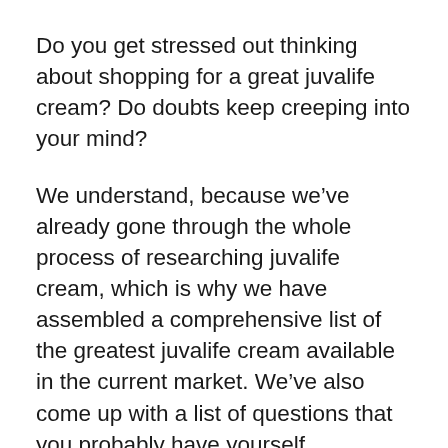Do you get stressed out thinking about shopping for a great juvalife cream? Do doubts keep creeping into your mind?
We understand, because we've already gone through the whole process of researching juvalife cream, which is why we have assembled a comprehensive list of the greatest juvalife cream available in the current market. We've also come up with a list of questions that you probably have yourself.
John Harvards has done the best we can with our thoughts and recommendations, but it's still crucial that you do thorough research on your own for juvalife cream that you consider buying.